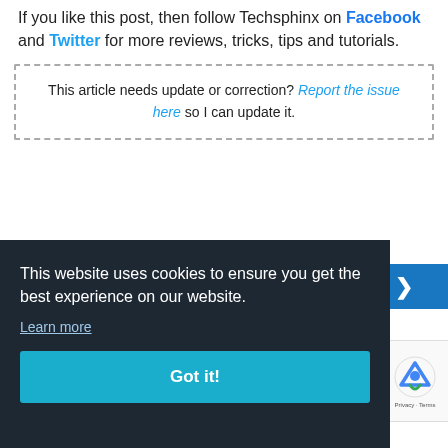If you like this post, then follow Techsphinx on Facebook and Twitter for more reviews, tricks, tips and tutorials.
This article needs update or correction? Report the issue here so I can update it.
This website uses cookies to ensure you get the best experience on our website.
Learn more
Got it!